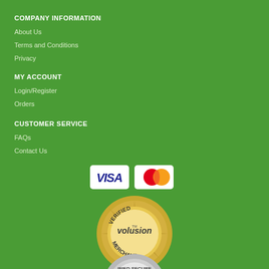COMPANY INFORMATION
About Us
Terms and Conditions
Privacy
MY ACCOUNT
Login/Register
Orders
CUSTOMER SERVICE
FAQs
Contact Us
[Figure (logo): Visa and Mastercard payment logos]
[Figure (logo): Volusion Verified Merchant badge - gold circular seal]
[Figure (logo): Verified Secure badge - partially visible at bottom]